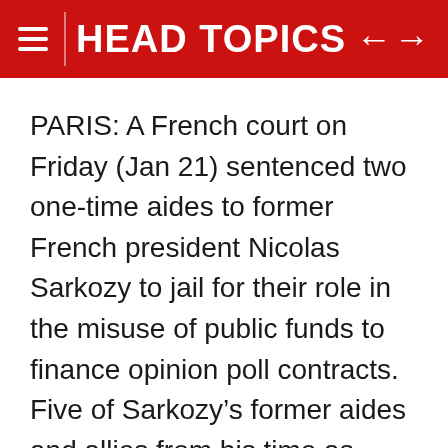HEAD TOPICS
PARIS: A French court on Friday (Jan 21) sentenced two one-time aides to former French president Nicolas Sarkozy to jail for their role in the misuse of public funds to finance opinion poll contracts. Five of Sarkozy’s former aides and allies from his time as president between 2007 and 2012 were on trial